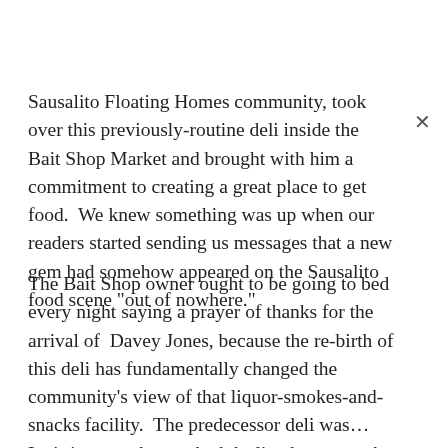Sausalito Floating Homes community, took over this previously-routine deli inside the Bait Shop Market and brought with him a commitment to creating a great place to get food.  We knew something was up when our readers started sending us messages that a new gem had somehow appeared on the Sausalito food scene "out of nowhere."
The Bait Shop owner ought to be going to bed every night saying a prayer of thanks for the arrival of  Davey Jones, because the re-birth of this deli has fundamentally changed the community's view of that liquor-smokes-and-snacks facility.  The predecessor deli was…  Let's just say that we had declined to cover the predecessor deli